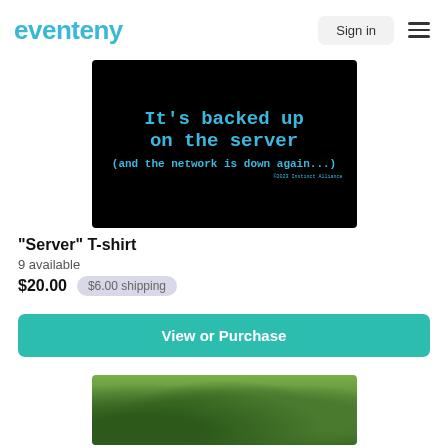eventeny  Sign in
[Figure (photo): Black background image with blue monospace text reading: It's backed up on the server (and the network is down again...) with small text at bottom right]
"Server" T-shirt
9 available
$20.00  $6.00 shipping
View or Purchase
[Figure (photo): Partial image of outdoor scene with green foliage/plants]